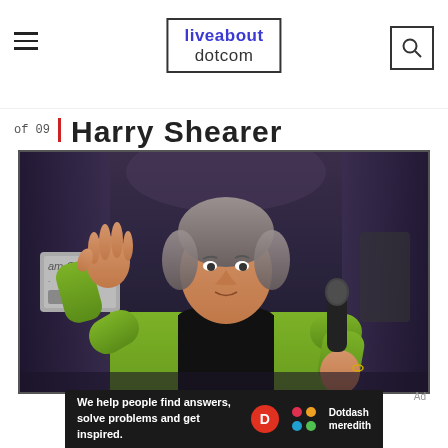liveabout dotcom
of 09
Harry Shearer
[Figure (photo): Man in green jacket holding a microphone on stage, gesturing with his left hand raised, performing or speaking at an event with musical equipment visible in the background]
Ad
We help people find answers, solve problems and get inspired.  Dotdash meredith